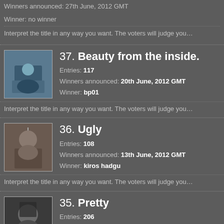Winners announced: 27th June, 2012 GMT
Winner: no winner
Interpret the title in any way you want. The voters will judge you...
37. Beauty from the inside. Entries: 117 Winners announced: 20th June, 2012 GMT Winner: bp01
Interpret the title in any way you want. The voters will judge you...
36. Ugly Entries: 108 Winners announced: 13th June, 2012 GMT Winner: kiros hadgu
Interpret the title in any way you want. The voters will judge you...
35. Pretty Entries: 206 Winners announced: 6th June, 2012 GMT Winner: shades
What comes to mind? The youngest sister in Downton Abbey? A fo... Interpret the title in any way you want. The voters will judge you...